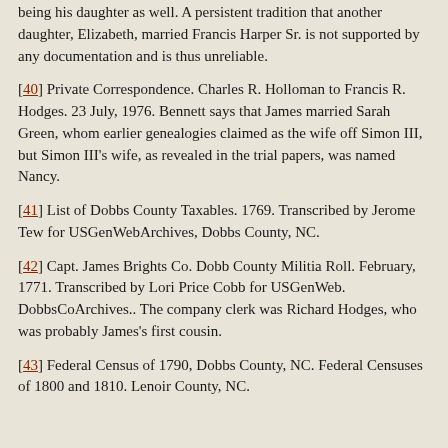being his daughter as well. A persistent tradition that another daughter, Elizabeth, married Francis Harper Sr. is not supported by any documentation and is thus unreliable.
[40] Private Correspondence. Charles R. Holloman to Francis R. Hodges. 23 July, 1976. Bennett says that James married Sarah Green, whom earlier genealogies claimed as the wife off Simon III, but Simon III's wife, as revealed in the trial papers, was named Nancy.
[41] List of Dobbs County Taxables. 1769. Transcribed by Jerome Tew for USGenWebArchives, Dobbs County, NC.
[42] Capt. James Brights Co. Dobb County Militia Roll. February, 1771. Transcribed by Lori Price Cobb for USGenWeb. DobbsCoArchives.. The company clerk was Richard Hodges, who was probably James's first cousin.
[43] Federal Census of 1790, Dobbs County, NC. Federal Censuses of 1800 and 1810. Lenoir County, NC.